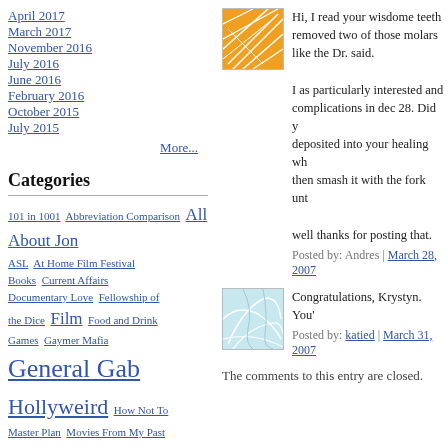April 2017
March 2017
November 2016
July 2016
June 2016
February 2016
October 2015
July 2015
More...
Categories
101 in 1001  Abbreviation Comparison  All About Jon  ASL  At Home Film Festival  Books  Current Affairs  Documentary Love  Fellowship of the Dice  Film  Food and Drink  Games  Gaymer Mafia  General Gab  Hollyweird  How Not To  Master Plan  Movies From My Past  Music  Politicking  Reality TV Network Notes  Recession Help  Shut Up, Pundit!  Sports  Television  Travel  Web/Tech  Weblogs
[Figure (illustration): Orange abstract geometric illustration with white lines]
Hi, I read your wisdome teeth removed two of those molars like the Dr. said. I as particularly interested and complications in dec 28. Did y deposited into your healing wh then smash it with the fork unt well thanks for posting that.
Posted by: Andres | March 28, 2007
[Figure (illustration): Light blue abstract illustration with white curved lines]
Congratulations, Krystyn. You'
Posted by: katied | March 31, 2007
The comments to this entry are closed.